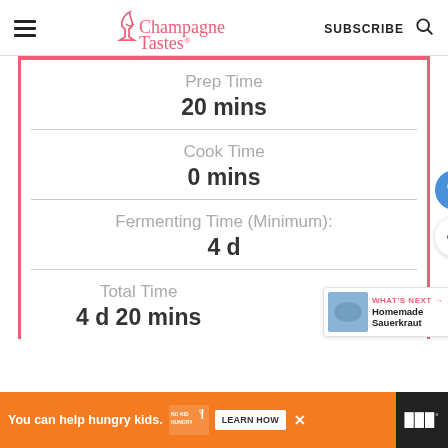Champagne Tastes® | SUBSCRIBE
Prep Time
20 mins
Cook Time
0 mins
Fermenting Time (Minimum):
4 d
Total Time
4 d 20 mins
WHAT'S NEXT → Homemade Sauerkraut
You can help hungry kids. NO KID HUNGRY LEARN HOW